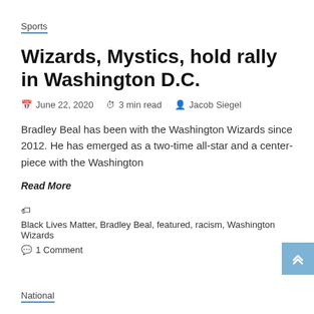Sports
Wizards, Mystics, hold rally in Washington D.C.
June 22, 2020  3 min read  Jacob Siegel
Bradley Beal has been with the Washington Wizards since 2012. He has emerged as a two-time all-star and a center-piece with the Washington
Read More
Black Lives Matter, Bradley Beal, featured, racism, Washington Wizards
1 Comment
National